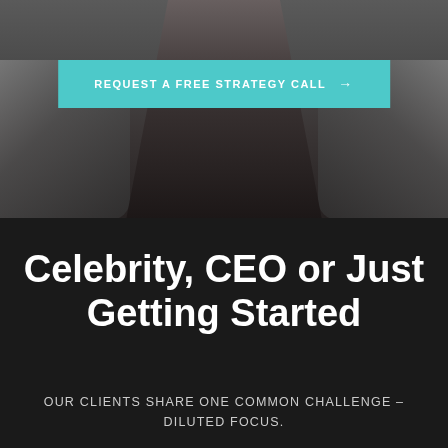[Figure (photo): Dark photo background showing a person, dimly lit, as a website hero image]
REQUEST A FREE STRATEGY CALL →
Celebrity, CEO or Just Getting Started
OUR CLIENTS SHARE ONE COMMON CHALLENGE – DILUTED FOCUS.